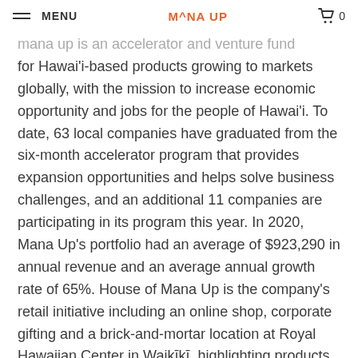MENU | M^NA UP | 0
Mana Up is an accelerator and venture fund for Hawaiʻi-based products growing to markets globally, with the mission to increase economic opportunity and jobs for the people of Hawaiʻi. To date, 63 local companies have graduated from the six-month accelerator program that provides expansion opportunities and helps solve business challenges, and an additional 11 companies are participating in its program this year. In 2020, Mana Up’s portfolio had an average of $923,290 in annual revenue and an average annual growth rate of 65%. House of Mana Up is the company’s retail initiative including an online shop, corporate gifting and a brick-and-mortar location at Royal Hawaiian Center in Waikīkī, highlighting products and